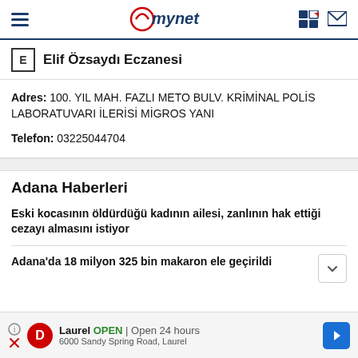mynet
Elif Özsaydı Eczanesi
Adres: 100. YIL MAH. FAZLI METO BULV. KRİMİNAL POLİS LABORATUVARI İLERİSİ MİGROS YANI
Telefon: 03225044704
Adana Haberleri
Eski kocasının öldürdüğü kadının ailesi, zanlının hak ettiği cezayı almasını istiyor
Adana'da 18 milyon 325 bin makaron ele geçirildi
Laurel OPEN | Open 24 hours 6000 Sandy Spring Road, Laurel